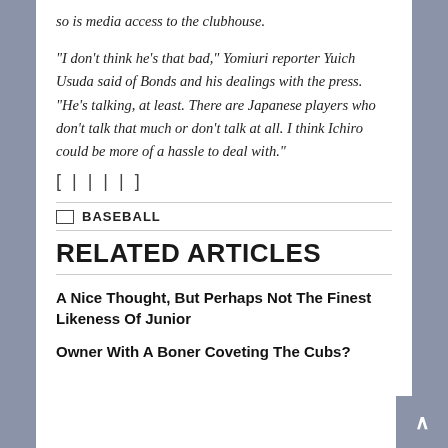so is media access to the clubhouse.
"I don't think he's that bad," Yomiuri reporter Yuich Usuda said of Bonds and his dealings with the press. "He's talking, at least. There are Japanese players who don't talk that much or don't talk at all. I think Ichiro could be more of a hassle to deal with."
[ | | | | ]
BASEBALL
RELATED ARTICLES
A Nice Thought, But Perhaps Not The Finest Likeness Of Junior
Owner With A Boner Coveting The Cubs?